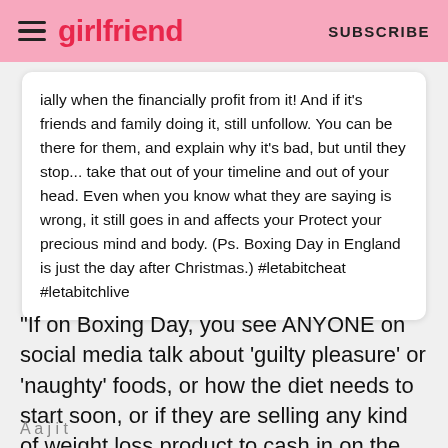girlfriend  SUBSCRIBE
ially when the financially profit from it! And if it's friends and family doing it, still unfollow. You can be there for them, and explain why it's bad, but until they stop... take that out of your timeline and out of your head. Even when you know what they are saying is wrong, it still goes in and affects your Protect your precious mind and body. (Ps. Boxing Day in England is just the day after Christmas.) #letabitcheat #letabitchlive
"If on Boxing Day, you see ANYONE on social media talk about 'guilty pleasure' or 'naughty' foods, or how the diet needs to start soon, or if they are selling any kind of weight loss product to cash in on the weird, toxic shame we are made to feel about indulging, UNFOLLOW".
A a j i t